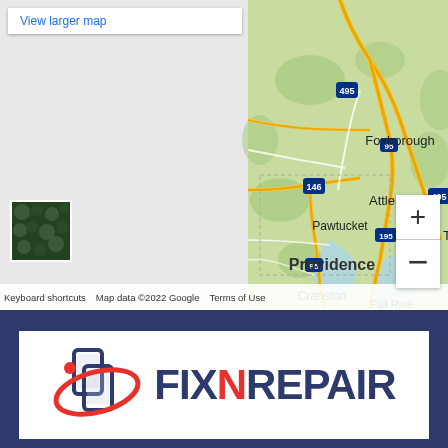[Figure (map): Google Maps screenshot showing Providence, RI area with surrounding cities including Foxborough, Attleboro, Pawtucket, Cranston. Shows highway routes 495, 95, 146. Zoom controls visible on right side. Satellite thumbnail in bottom left corner. Map data 2022 Google.]
View larger map
Keyboard shortcuts   Map data ©2022 Google   Terms of Use
[Figure (logo): FixNRepair logo with phone/device repair icon on the left and company name FIX N REPAIR in dark blue and red text]